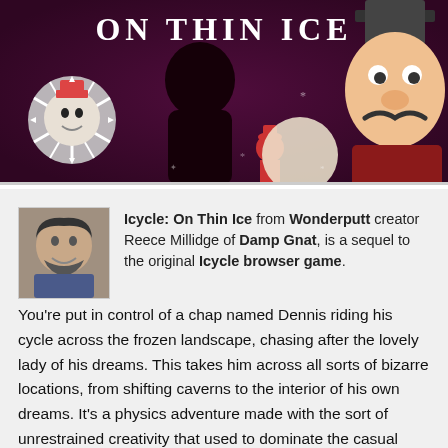[Figure (illustration): Banner image for 'Icycle: On Thin Ice' game. Dark purple/maroon background with a snowflake icon on the left containing a small character face, a large dark silhouette in the center, a small red-hatted figure, a cartoon man with mustache and top hat on the right, and the title 'ON THIN ICE' in large white letters at the top.]
Icycle: On Thin Ice from Wonderputt creator Reece Millidge of Damp Gnat, is a sequel to the original Icycle browser game. You're put in control of a chap named Dennis riding his cycle across the frozen landscape, chasing after the lovely lady of his dreams. This takes him across all sorts of bizarre locations, from shifting caverns to the interior of his own dreams. It's a physics adventure made with the sort of unrestrained creativity that used to dominate the casual gaming market. Playing Icycle: On Thin Ice is like being a kid again, only so much better.